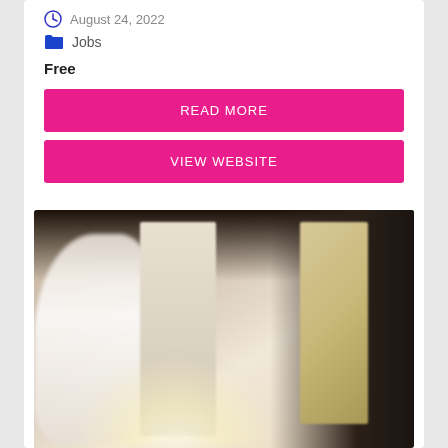August 24, 2022
Jobs
Free
READ MORE
VIEW WEBSITE
[Figure (photo): Blurry photo of a person in a white dress standing in a corridor or room with doors, dark background on the right side, bright glow at the bottom center]